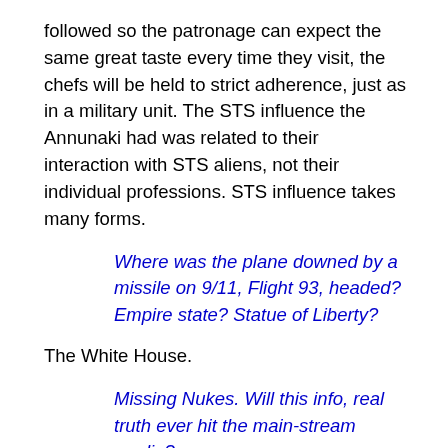followed so the patronage can expect the same great taste every time they visit, the chefs will be held to strict adherence, just as in a military unit. The STS influence the Annunaki had was related to their interaction with STS aliens, not their individual professions. STS influence takes many forms.
Where was the plane downed by a missile on 9/11, Flight 93, headed? Empire state? Statue of Liberty?
The White House.
Missing Nukes. Will this info, real truth ever hit the main-stream media?
We have stated in the past that many nukes in the possession of the US and Russia and other countries with an extremely large nuclear arsenal have been